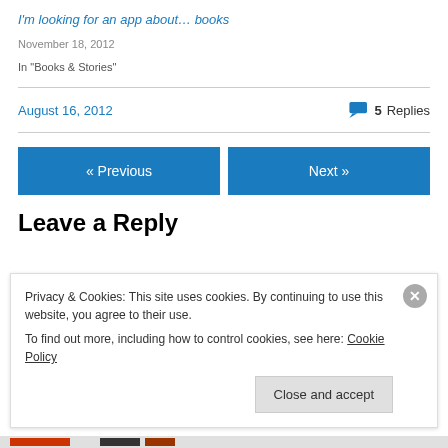I'm looking for an app about… books
November 18, 2012
In "Books & Stories"
August 16, 2012
5 Replies
« Previous
Next »
Leave a Reply
Privacy & Cookies: This site uses cookies. By continuing to use this website, you agree to their use.
To find out more, including how to control cookies, see here: Cookie Policy
Close and accept